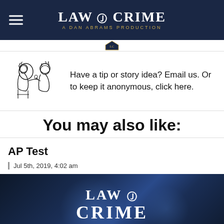LAW & CRIME — A DAN ABRAMS PRODUCTION
Have a tip or story idea? Email us. Or to keep it anonymous, click here.
You may also like:
AP Test
Jul 5th, 2019, 4:02 am
[Figure (logo): Law & Crime Trial Network logo on dark navy background]